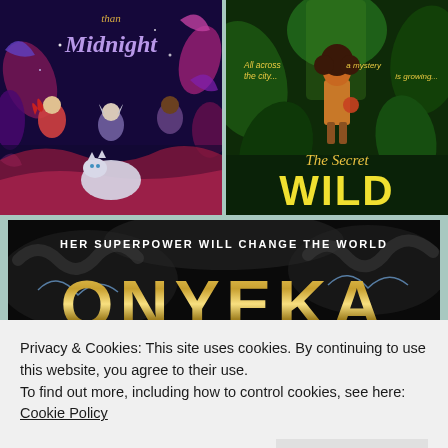[Figure (illustration): Book cover: '... than Midnight' — fantasy illustration with girl characters and a white wolf on a dark purple/blue magical background with colorful leaves and flora]
[Figure (illustration): Book cover: 'The Secret Wild' — illustrated child in a lush green jungle setting, with tagline 'All across the city... a mystery is growing...']
[Figure (illustration): Book cover: 'Onyeka' — dark background with gold metallic title text and subtitle 'HER SUPERPOWER WILL CHANGE THE WORLD']
Privacy & Cookies: This site uses cookies. By continuing to use this website, you agree to their use.
To find out more, including how to control cookies, see here: Cookie Policy
[Figure (illustration): Partial book cover at bottom: yellow and black patterned background with partial figure visible]